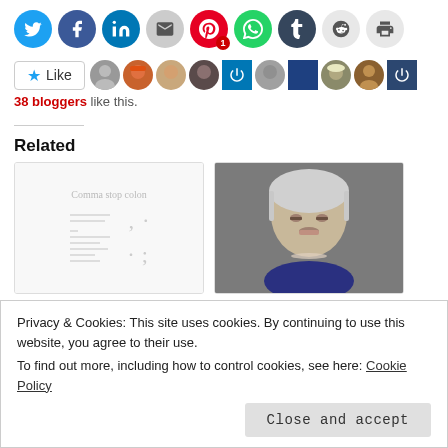[Figure (other): Row of social sharing icons: Twitter, Facebook, LinkedIn, Email, Pinterest (with badge 1), WhatsApp, Tumblr, Reddit, Print]
[Figure (other): Like button and avatar strip of 38 bloggers who liked the post]
38 bloggers like this.
Related
[Figure (other): Thumbnail for 'The #Writing's Done. What' showing comma stop colon punctuation artwork]
The #Writing's Done. What
[Figure (photo): Thumbnail for 'A Protest Poem.' showing portrait of woman with grey hair (Theresa May caricature)]
A Protest Poem.
Privacy & Cookies: This site uses cookies. By continuing to use this website, you agree to their use.
To find out more, including how to control cookies, see here: Cookie Policy
Close and accept